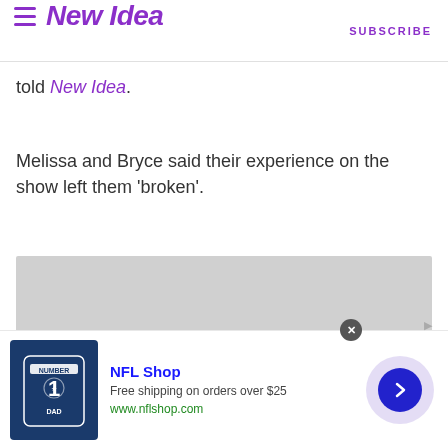New Idea | SUBSCRIBE
told New Idea.
Melissa and Bryce said their experience on the show left them 'broken'.
[Figure (photo): Gray placeholder image block]
[Figure (other): Advertisement: NFL Shop - Free shipping on orders over $25 - www.nflshop.com]